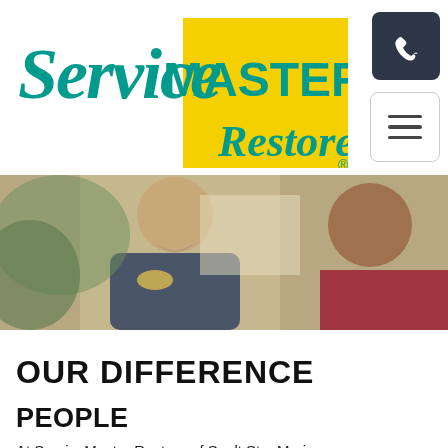[Figure (logo): ServiceMASTER Restore logo with teal text and yellow triangle]
[Figure (photo): A ServiceMaster Restore technician in a navy polo shirt smiling and talking to a customer at their door]
OUR DIFFERENCE
PEOPLE
At ServiceMaster Restore of Sault Ste. Marie, we are